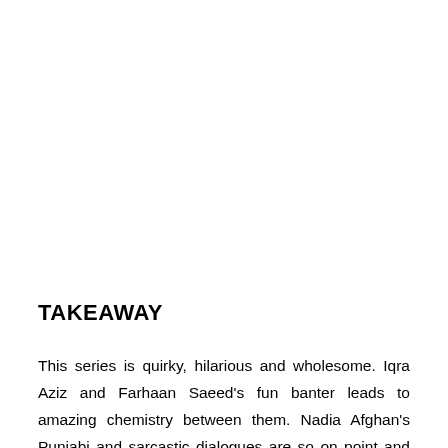TAKEAWAY
This series is quirky, hilarious and wholesome. Iqra Aziz and Farhaan Saeed's fun banter leads to amazing chemistry between them. Nadia Afghan's Punjabi and sarcastic dialogues are so on point and hilarious that you